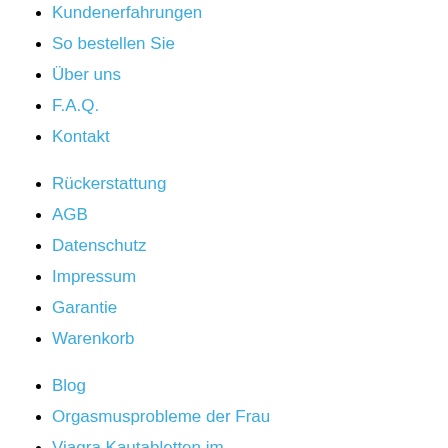Kundenerfahrungen
So bestellen Sie
Über uns
F.A.Q.
Kontakt
Rückerstattung
AGB
Datenschutz
Impressum
Garantie
Warenkorb
Blog
Orgasmusprobleme der Frau
Viagra Kautabletten im
Potenzmittel im Vergleich
Viagra - Ein Multitalent